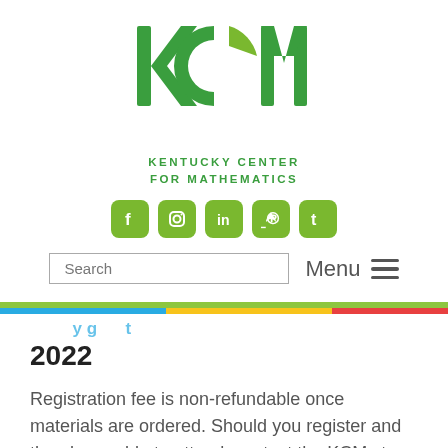[Figure (logo): KCM - Kentucky Center for Mathematics logo in green with social media icons (Facebook, Instagram, LinkedIn, Pinterest, Twitter)]
[Figure (screenshot): Search bar and Menu navigation element]
2022
Registration fee is non-refundable once materials are ordered. Should you register and then be unable to attend, contact the KCM st